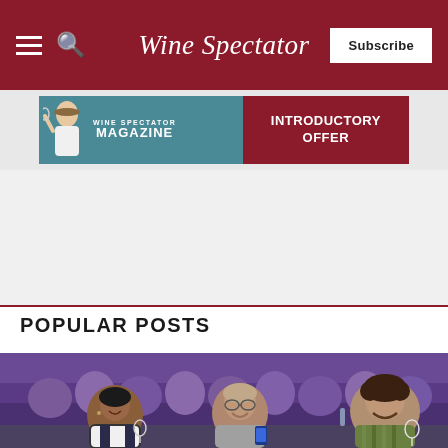Wine Spectator
[Figure (screenshot): Wine Spectator Magazine advertisement banner with teal left panel showing a woman illustration and 'WINE SPECTATOR MAGAZINE' text, and a dark red right panel with 'INTRODUCTORY OFFER' text]
POPULAR POSTS
[Figure (photo): Crowd of people laughing and smiling at a wine tasting event or seminar, seated at tables with wine glasses and water bottles. Foreground shows a Black woman in a white top smiling broadly, a middle-aged man with glasses in a gray sweater, and a curly-haired man in a green striped shirt.]